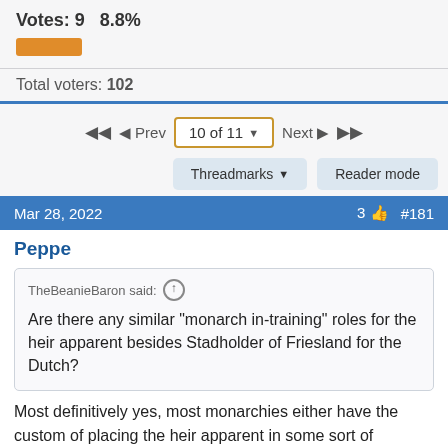Votes: 9    8.8%
Total voters: 102
◄◄   ◄ Prev   10 of 11 ▼   Next ►   ►►
Threadmarks ▼    Reader mode
Mar 28, 2022    3 👍   #181
Peppe
TheBeanieBaron said: ↑

Are there any similar "monarch in-training" roles for the heir apparent besides Stadholder of Friesland for the Dutch?
Most definitively yes, most monarchies either have the custom of placing the heir apparent in some sort of administrative/government position (like the Prince of Wales